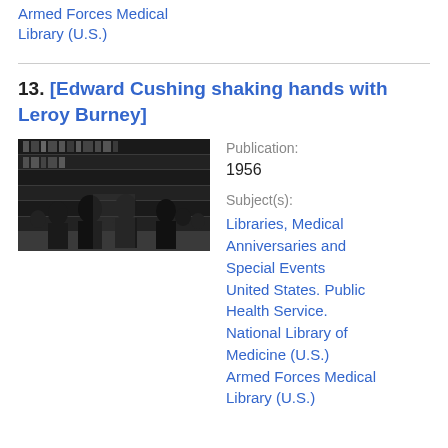Armed Forces Medical Library (U.S.)
13. [Edward Cushing shaking hands with Leroy Burney]
[Figure (photo): Black and white photograph of Edward Cushing shaking hands with Leroy Burney in what appears to be a library setting with shelves of books in the background]
Publication: 1956
Subject(s): Libraries, Medical Anniversaries and Special Events United States. Public Health Service. National Library of Medicine (U.S.) Armed Forces Medical Library (U.S.)